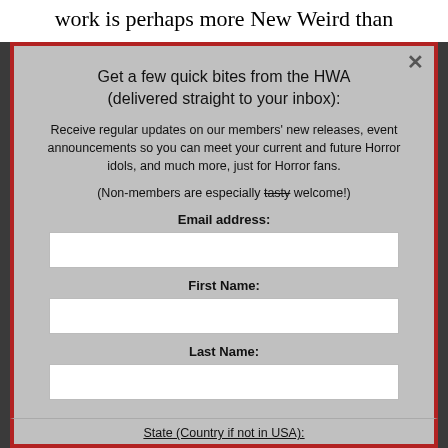work is perhaps more New Weird than
Get a few quick bites from the HWA (delivered straight to your inbox):
Receive regular updates on our members' new releases, event announcements so you can meet your current and future Horror idols, and much more, just for Horror fans.
(Non-members are especially tasty welcome!)
Email address:
First Name:
Last Name:
State (Country if not in USA):